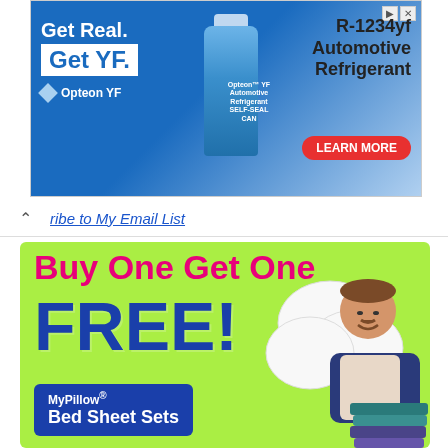[Figure (advertisement): Opteon YF Automotive Refrigerant ad banner with product bottle, 'Get Real. Get YF.' text, and 'LEARN MORE' button. R-1234yf Automotive Refrigerant.]
ribe to My Email List
[Figure (advertisement): MyPillow Buy One Get One FREE promotional ad on lime-green background with man holding pillows. Promo code GENZ. MyPillow® Bed Sheet Sets.]